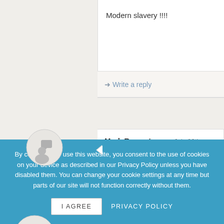Modern slavery !!!!
Write a reply
Mark Rowantree · July 26th, 2016 · Agree entirely!
Jaume Roqueta · October 21st, 2014
By continuing to use this website, you consent to the use of cookies on your device as described in our Privacy Policy unless you have disabled them. You can change your cookie settings at any time but parts of our site will not function correctly without them.
I AGREE
PRIVACY POLICY